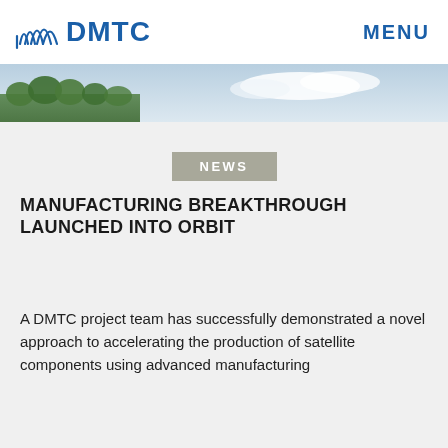DMTC | MENU
[Figure (photo): Outdoor scene with sky and trees, partially visible at the top of the page as a hero banner image]
NEWS
MANUFACTURING BREAKTHROUGH LAUNCHED INTO ORBIT
A DMTC project team has successfully demonstrated a novel approach to accelerating the production of satellite components using advanced manufacturing